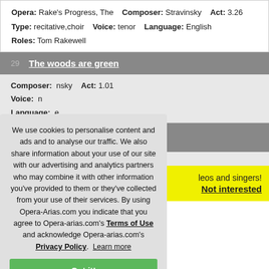Opera: Rake's Progress, The   Composer: Stravinsky   Act: 3.26
Type: recitative,choir   Voice: tenor   Language: English
Roles: Tom Rakewell
29  The woods are green
Composer: ...nsky   Act: 1.01
Voice: ...n
Language: ...e
Act: 1.04
...leos and singers!
Not interested
We use cookies to personalise content and ads and to analyse our traffic. We also share information about your use of our site with our advertising and analytics partners who may combine it with other information you've provided to them or they've collected from your use of their services. By using Opera-Arias.com you indicate that you agree to Opera-arias.com's Terms of Use and acknowledge Opera-arias.com's Privacy Policy. Learn more
Got it!